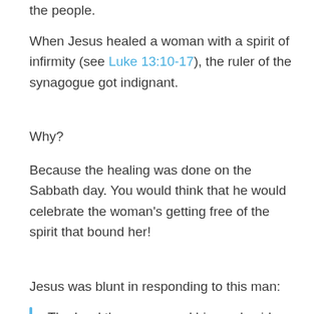the people.
When Jesus healed a woman with a spirit of infirmity (see Luke 13:10-17), the ruler of the synagogue got indignant.
Why?
Because the healing was done on the Sabbath day. You would think that he would celebrate the woman's getting free of the spirit that bound her!
Jesus was blunt in responding to this man:
The Lord then answered him and said, “Hypocrite! Does not each one of you on the